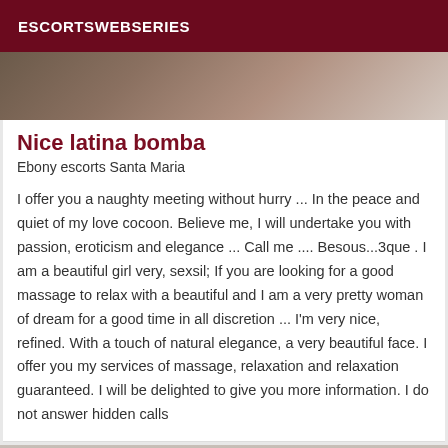ESCORTSWEBSERIES
[Figure (photo): Partial photo of a person, cropped top portion visible]
Nice latina bomba
Ebony escorts Santa Maria
I offer you a naughty meeting without hurry ... In the peace and quiet of my love cocoon. Believe me, I will undertake you with passion, eroticism and elegance ... Call me .... Besous...3que . I am a beautiful girl very, sexsil; If you are looking for a good massage to relax with a beautiful and I am a very pretty woman of dream for a good time in all discretion ... I'm very nice, refined. With a touch of natural elegance, a very beautiful face. I offer you my services of massage, relaxation and relaxation guaranteed. I will be delighted to give you more information. I do not answer hidden calls
[Figure (photo): Partial photo at the bottom with a Verified badge]